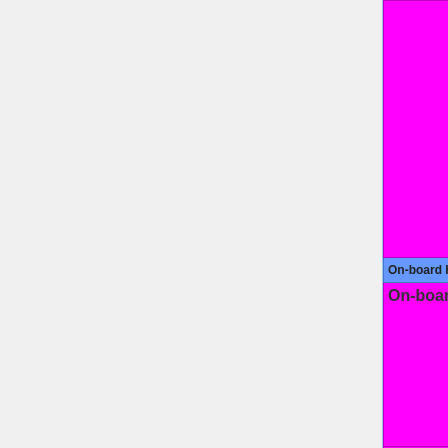[Figure (screenshot): Partial wiki-style table showing hardware compatibility rows. Left gray panel occupies roughly 85% of page width. Right portion shows a table with magenta/pink cells and a blue section header. Top partial row shows cropped status key text (No=red, WIP=orange, Untested=yellow, N/A=lightgray/yellow). Section header row reads 'On-board Hardware'. Rows: 'On-board IDE 3.5"' with status key, 'On-board IDE 2.5"' with status key, 'On-board SATA' with status key (partially visible).]
| Feature | Status Key |
| --- | --- |
| (partial top row) | No=red | WIP=orange | Untested=yellow | N/A=lightgray/yellow }}" | W |
| On-board Hardware |  |
| On-board IDE 3.5" | OK=lime | TODO=red | No=red | WIP=orange | Untested=yellow | N/A=lightgray/yellow }}" | OK |
| On-board IDE 2.5" | OK=lime | TODO=red | No=red | WIP=orange | Untested=yellow | N/A=lightgray/yellow }}" | N/A |
| On-board SATA | OK=lime | TODO=red | No=red |